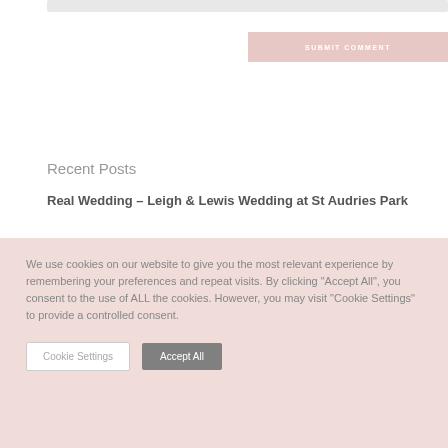[Figure (screenshot): Input bar / text field at top of page]
[Figure (screenshot): Submit Comment button with pink/blush background]
Recent Posts
Real Wedding – Leigh & Lewis Wedding at St Audries Park
We use cookies on our website to give you the most relevant experience by remembering your preferences and repeat visits. By clicking "Accept All", you consent to the use of ALL the cookies. However, you may visit "Cookie Settings" to provide a controlled consent.